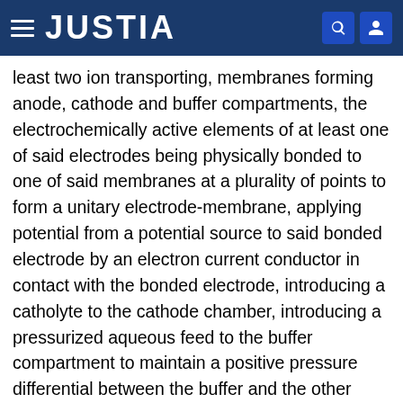JUSTIA
least two ion transporting, membranes forming anode, cathode and buffer compartments, the electrochemically active elements of at least one of said electrodes being physically bonded to one of said membranes at a plurality of points to form a unitary electrode-membrane, applying potential from a potential source to said bonded electrode by an electron current conductor in contact with the bonded electrode, introducing a catholyte to the cathode chamber, introducing a pressurized aqueous feed to the buffer compartment to maintain a positive pressure differential between the buffer and the other compartments to force said membranes outward and maintain firm contact between the electrochemically active bonded electrode and the electron current conductor structure.